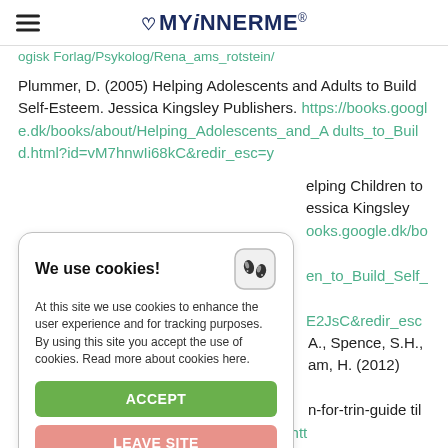MYiNNERME®
ogisk Forlag/Psykolog/Rena_ams_rotstein/
Plummer, D. (2005) Helping Adolescents and Adults to Build Self-Esteem. Jessica Kingsley Publishers. https://books.google.dk/books/about/Helping_Adolescents_and_Adults_to_Build.html?id=vM7hnwIi68kC&redir_esc=y
elping Children to essica Kingsley ooks.google.dk/books/a en_to_Build_Self_Este E2JsC&redir_esc=y
[Figure (screenshot): Cookie consent popup with 'We use cookies!' title, footprint icon, explanatory text, ACCEPT button (green), and LEAVE SITE button (pink/salmon).]
A., Spence, S.H., am, H. (2012) Hjælp dit n-for-trin-guide til forældre. Dansk Psykologisk Forlag A/S. htt